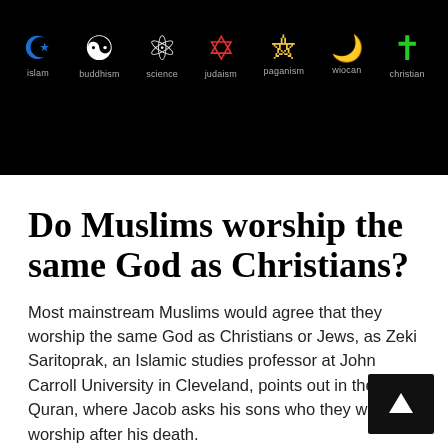[Figure (illustration): Black background image showing colorful religious symbols (crescent/star for Islam, yin-yang for Buddhism, atom for Science, Star of David for Judaism, pentacle for Paganism, triple moon for Wiccan, ankh for Christian, cross for Christian) with labels below each symbol in gray text.]
Do Muslims worship the same God as Christians?
Most mainstream Muslims would agree that they worship the same God as Christians or Jews, as Zeki Saritoprak, an Islamic studies professor at John Carroll University in Cleveland, points out in the Quran, where Jacob asks his sons who they will worship after his death.